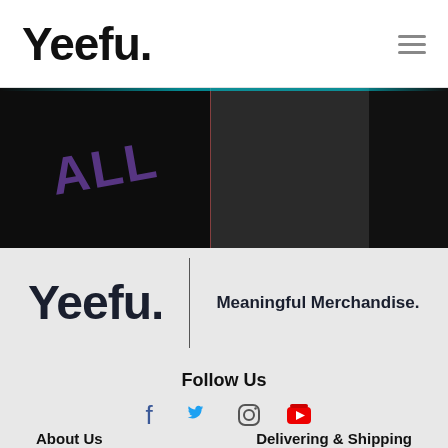Yeefu.
[Figure (photo): Dark hero banner showing athletic/fitness themed imagery with three panels: left shows stylized text, center shows a person, right shows an illustrated character]
Yeefu. | Meaningful Merchandise.
Follow Us
[Figure (infographic): Social media icons: Facebook, Twitter, Instagram, YouTube]
About Us
Delivering & Shipping